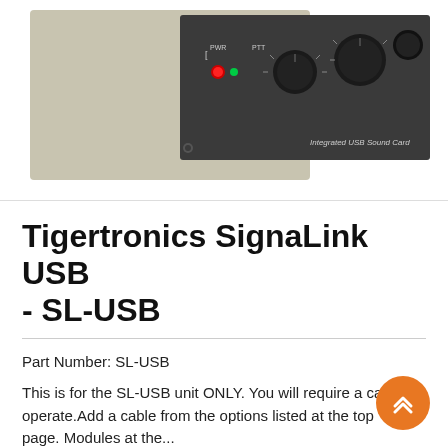[Figure (photo): Photo of the Tigertronics SignaLink USB (SL-USB) device showing the front panel with PWR and PTT labels, red power LED, green LED, knobs, and 'Integrated USB Sound Card' text on a dark gray face plate with beige/cream colored housing.]
Tigertronics SignaLink USB - SL-USB
Part Number: SL-USB
This is for the SL-USB unit ONLY. You will require a cable to operate.Add a cable from the options listed at the top of the page. Modules at the...
Read More